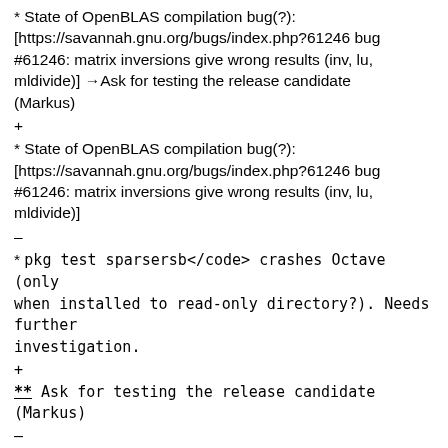* State of OpenBLAS compilation bug(?): [https://savannah.gnu.org/bugs/index.php?61246 bug #61246: matrix inversions give wrong results (inv, lu, mldivide)] →Ask for testing the release candidate (Markus)
+
* State of OpenBLAS compilation bug(?): [https://savannah.gnu.org/bugs/index.php?61246 bug #61246: matrix inversions give wrong results (inv, lu, mldivide)]
–
* <code>pkg test sparsersb</code> crashes Octave (only when installed to read-only directory?). Needs further investigation.
+
** Ask for testing the release candidate (Markus)
–
* Which version numbers to update in which files on (minor) release? (CITATION file?) →jwe will add rules for an automatic update.